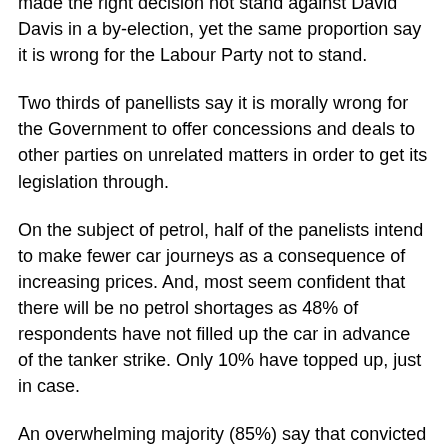made the right decision not stand against David Davis in a by-election, yet the same proportion say it is wrong for the Labour Party not to stand.
Two thirds of panellists say it is morally wrong for the Government to offer concessions and deals to other parties on unrelated matters in order to get its legislation through.
On the subject of petrol, half of the panelists intend to make fewer car journeys as a consequence of increasing prices. And, most seem confident that there will be no petrol shortages as 48% of respondents have not filled up the car in advance of the tanker strike. Only 10% have topped up, just in case.
An overwhelming majority (85%) say that convicted murders such as the Black Panther should never become eligible for parole no matter what their age.